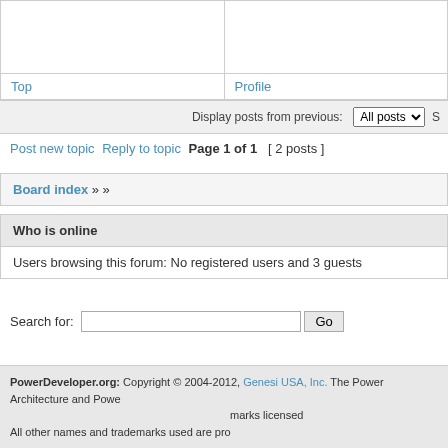|  |  |
| Top | Profile |
Display posts from previous: All posts
Post new topic  Reply to topic  Page 1 of 1  [ 2 posts ]
Board index » »
Who is online
Users browsing this forum: No registered users and 3 guests
Search for: [input] Go
PowerDeveloper.org: Copyright © 2004-2012, Genesi USA, Inc. The Power Architecture and Power marks licensed All other names and trademarks used are pro